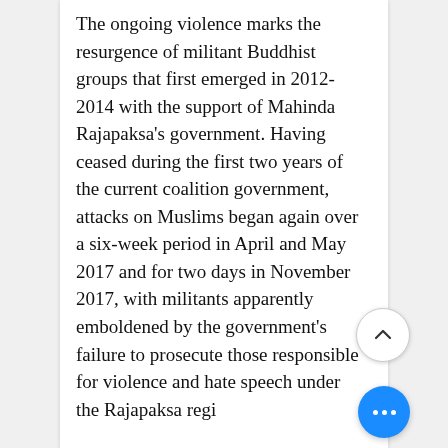The ongoing violence marks the resurgence of militant Buddhist groups that first emerged in 2012-2014 with the support of Mahinda Rajapaksa's government. Having ceased during the first two years of the current coalition government, attacks on Muslims began again over a six-week period in April and May 2017 and for two days in November 2017, with militants apparently emboldened by the government's failure to prosecute those responsible for violence and hate speech under the Rajapaksa regi[me]
Sri Lanka has grabbed international headlines in the past due to tensi[ons] between the Sinhalese and Tami[ls] how do you describe the relations